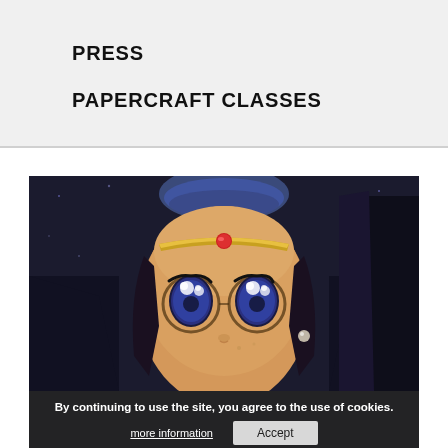PRESS
PAPERCRAFT CLASSES
[Figure (photo): Close-up of an anime-style painting showing a cartoon girl with large blue eyes, small nose, wearing a blue headpiece and circular glasses, with a red gemstone on her forehead. The painting appears to be on canvas with a dark background reminiscent of Vermeer's Girl with a Pearl Earring, but rendered in anime style.]
By continuing to use the site, you agree to the use of cookies.
more information
Accept
Artist brings cartoon fun to Old